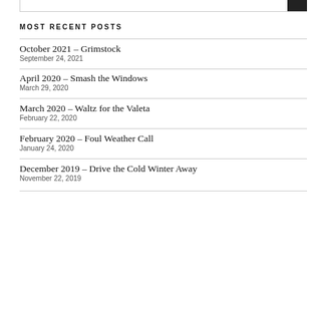MOST RECENT POSTS
October 2021 – Grimstock
September 24, 2021
April 2020 – Smash the Windows
March 29, 2020
March 2020 – Waltz for the Valeta
February 22, 2020
February 2020 – Foul Weather Call
January 24, 2020
December 2019 – Drive the Cold Winter Away
November 22, 2019